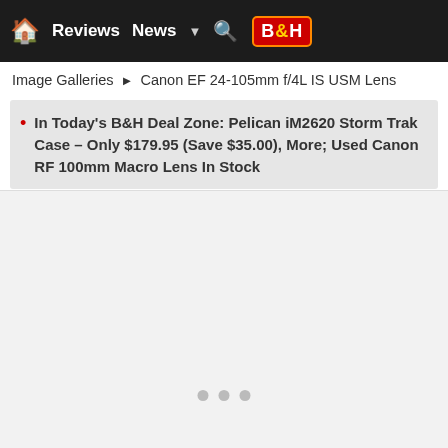Reviews   News   ▼   🔍   B&H
Image Galleries ▶ Canon EF 24-105mm f/4L IS USM Lens
In Today's B&H Deal Zone: Pelican iM2620 Storm Trak Case – Only $179.95 (Save $35.00), More; Used Canon RF 100mm Macro Lens In Stock
... More Canon & Sony News